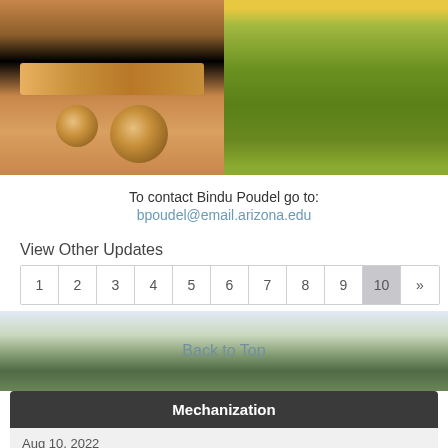[Figure (photo): Two side-by-side photos: left shows fungal cultures on dark background (a rectangular strip and two circular petri dish cross-sections); right shows green field crop with yellow fruit visible]
To contact Bindu Poudel go to:
bpoudel@email.arizona.edu
View Other Updates
1  2  3  4  5  6  7  8  9  10  »
Back to Top
Mechanization
Aug 10, 2022
Controlling Weeds and Fusarium